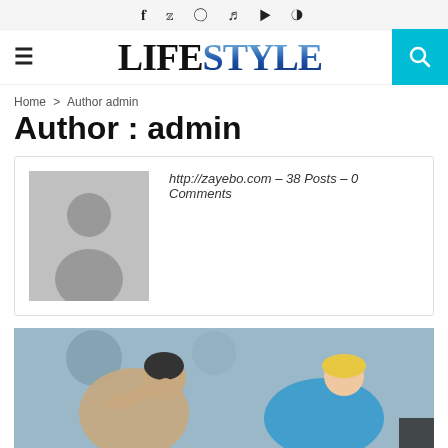f  ♥  ○  ✪  ▶  ◉
LIFESTYLE
Home > Author admin
Author : admin
http://zayebo.com – 38 Posts – 0 Comments
[Figure (photo): Fitness gym photo showing people exercising]